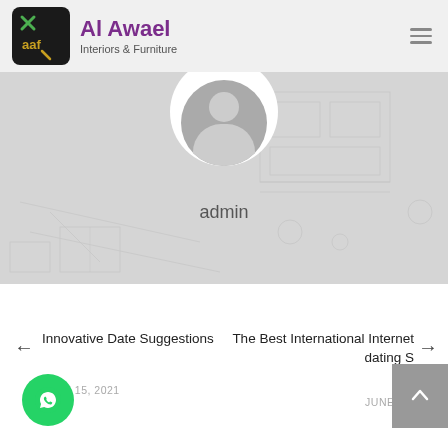[Figure (logo): Al Awael Interiors & Furniture logo with dark square logo mark containing AAF letters and X symbol, purple brand name text]
[Figure (photo): Admin profile hero section with blueprint technical drawing background, white circle avatar with grey person silhouette, and 'admin' label below]
admin
Innovative Date Suggestions
JUNE 15, 2021
The Best International Internet dating S…
JUNE 18,